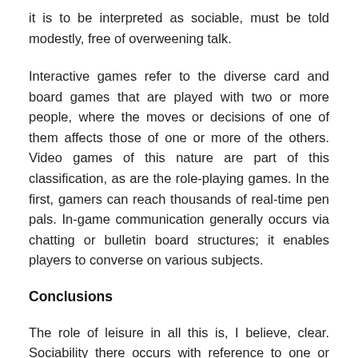it is to be interpreted as sociable, must be told modestly, free of overweening talk.
Interactive games refer to the diverse card and board games that are played with two or more people, where the moves or decisions of one of them affects those of one or more of the others. Video games of this nature are part of this classification, as are the role-playing games. In the first, gamers can reach thousands of real-time pen pals. In-game communication generally occurs via chatting or bulletin board structures; it enables players to converse on various subjects.
Conclusions
The role of leisure in all this is, I believe, clear. Sociability there occurs with reference to one or more leisure activities as defined earlier. These activities have their central conceptual place in the SLP, in its three